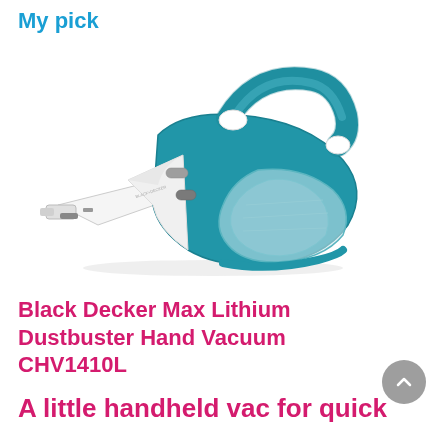My pick
[Figure (photo): Black Decker Max Lithium Dustbuster Hand Vacuum CHV1410L — teal and white handheld vacuum cleaner shown at an angle, pointing left, with transparent dust container and teal handle]
Black Decker Max Lithium Dustbuster Hand Vacuum CHV1410L
A little handheld vac for quick